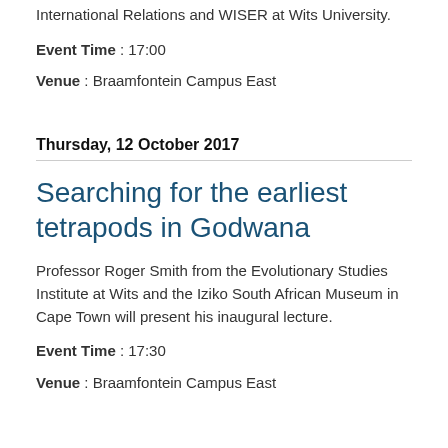International Relations and WISER at Wits University.
Event Time : 17:00
Venue : Braamfontein Campus East
Thursday, 12 October 2017
Searching for the earliest tetrapods in Godwana
Professor Roger Smith from the Evolutionary Studies Institute at Wits and the Iziko South African Museum in Cape Town will present his inaugural lecture.
Event Time : 17:30
Venue : Braamfontein Campus East
Monday, 16 October 2017